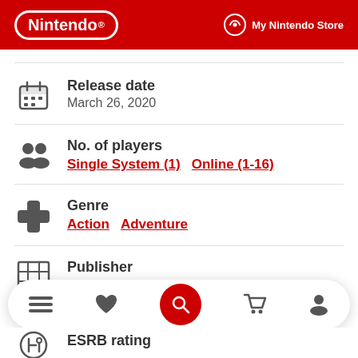Nintendo | My Nintendo Store
Release date
March 26, 2020
No. of players
Single System (1)  Online (1-16)
Genre
Action  Adventure
Publisher
ESRB rating